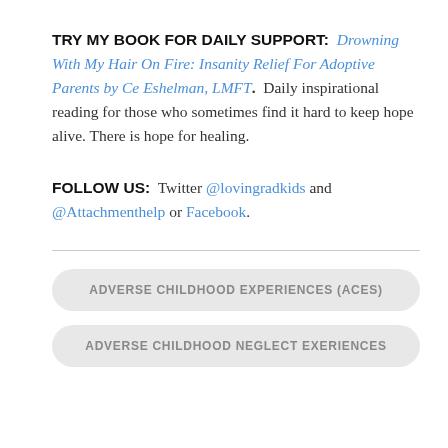TRY MY BOOK FOR DAILY SUPPORT: Drowning With My Hair On Fire: Insanity Relief For Adoptive Parents by Ce Eshelman, LMFT. Daily inspirational reading for those who sometimes find it hard to keep hope alive. There is hope for healing.
FOLLOW US: Twitter @lovingradkids and @Attachmenthelp or Facebook.
ADVERSE CHILDHOOD EXPERIENCES (ACES)
ADVERSE CHILDHOOD NEGLECT EXERIENCES